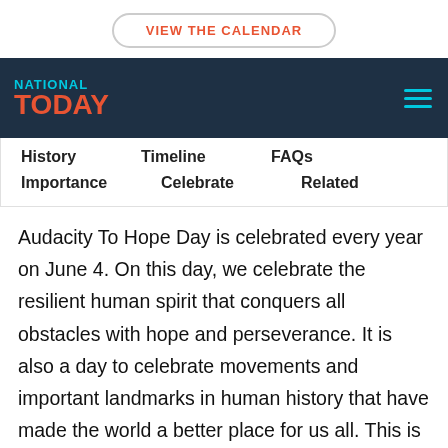VIEW THE CALENDAR
[Figure (logo): National Today logo with navigation header including hamburger menu icon]
History   Timeline   FAQs
Importance   Celebrate   Related
Audacity To Hope Day is celebrated every year on June 4. On this day, we celebrate the resilient human spirit that conquers all obstacles with hope and perseverance. It is also a day to celebrate movements and important landmarks in human history that have made the world a better place for us all. This is also a great day to celebrate personal victories that you have achieved after